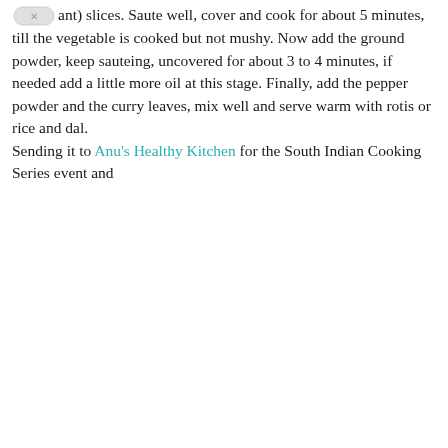ant) slices. Saute well, cover and cook for about 5 minutes, till the vegetable is cooked but not mushy. Now add the ground powder, keep sauteing, uncovered for about 3 to 4 minutes, if needed add a little more oil at this stage. Finally, add the pepper powder and the curry leaves, mix well and serve warm with rotis or rice and dal.
Sending it to Anu's Healthy Kitchen for the South Indian Cooking Series event and